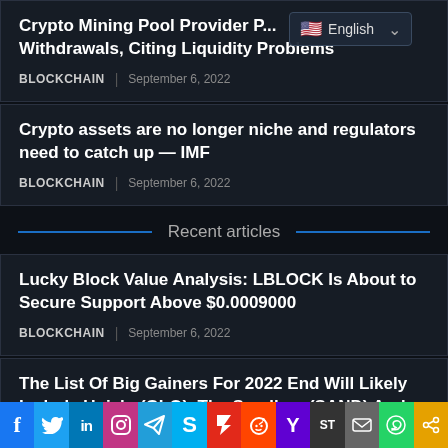Crypto Mining Pool Provider P... Withdrawals, Citing Liquidity Problems
BLOCKCHAIN | September 6, 2022
Crypto assets are no longer niche and regulators need to catch up — IMF
BLOCKCHAIN | September 6, 2022
Recent articles
Lucky Block Value Analysis: LBLOCK Is About to Secure Support Above $0.0009000
BLOCKCHAIN | September 6, 2022
The List Of Big Gainers For 2022 End Will Likely Include Unialo (GLO), The Sandbox (SAND) And
[Figure (infographic): Social media sharing bar with icons: Facebook, Twitter, LinkedIn, Instagram, Telegram, Skype, Flipboard, Reddit, Yahoo, ShareThis, Mail, WhatsApp, Share]